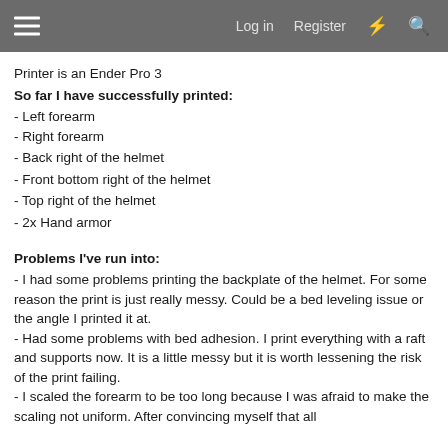Log in  Register
Printer is an Ender Pro 3
So far I have successfully printed:
- Left forearm
- Right forearm
- Back right of the helmet
- Front bottom right of the helmet
- Top right of the helmet
- 2x Hand armor
Problems I've run into:
- I had some problems printing the backplate of the helmet. For some reason the print is just really messy. Could be a bed leveling issue or the angle I printed it at.
- Had some problems with bed adhesion. I print everything with a raft and supports now. It is a little messy but it is worth lessening the risk of the print failing.
- I scaled the forearm to be too long because I was afraid to make the scaling not uniform. After convincing myself that all